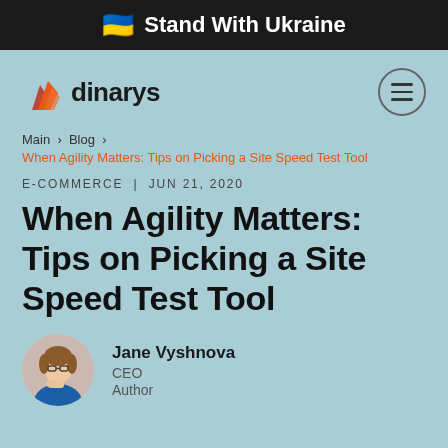🇺🇦 Stand With Ukraine
[Figure (logo): Dinarys company logo with orange flame/arrow icon and dark text 'dinarys']
Main > Blog >
When Agility Matters: Tips on Picking a Site Speed Test Tool
E-COMMERCE | JUN 21, 2020
When Agility Matters: Tips on Picking a Site Speed Test Tool
[Figure (photo): Circular portrait photo of Jane Vyshnova, a woman with glasses in a blue outfit, posing thoughtfully]
Jane Vyshnova
CEO
Author